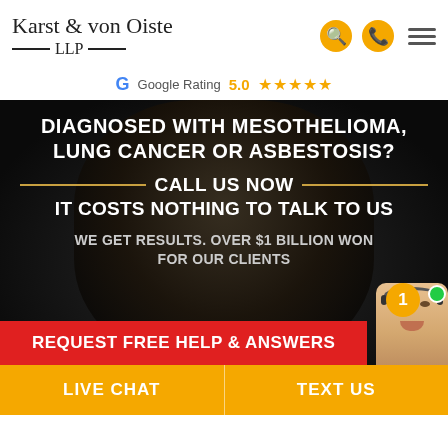Karst & von Oiste LLP
Google Rating 5.0 ★★★★★
[Figure (photo): Dark hero image of a veteran with text overlay: DIAGNOSED WITH MESOTHELIOMA, LUNG CANCER OR ASBESTOSIS? CALL US NOW IT COSTS NOTHING TO TALK TO US. WE GET RESULTS. OVER $1 BILLION WON FOR OUR CLIENTS. REQUEST FREE HELP & ANSWERS button.]
LIVE CHAT
TEXT US